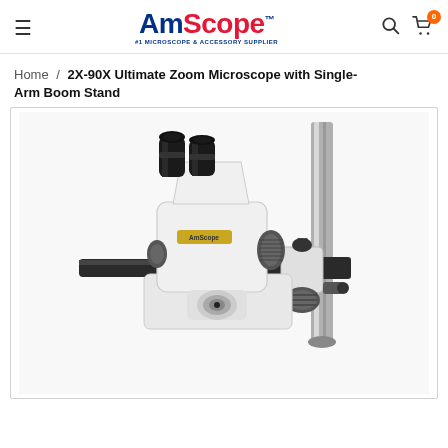AmScope™ — #1 Microscope & Accessory Supplier
Home /  2X-90X Ultimate Zoom Microscope with Single-Arm Boom Stand
[Figure (photo): Product photo of a 2X-90X Ultimate Zoom Stereo Microscope with a binocular head, zoom knob, and a single-arm boom stand with vertical post and horizontal arm clamp assembly, on a white background.]